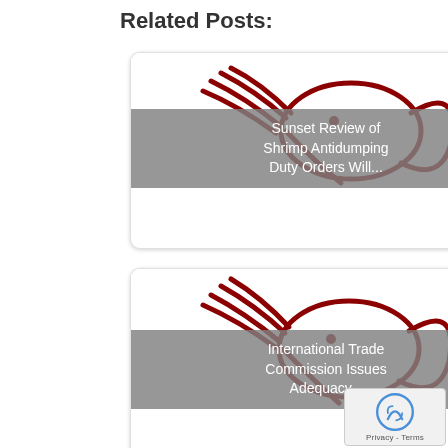Related Posts:
[Figure (illustration): Shrimp logo illustration in red line art on white background]
Sunset Review of Shrimp Antidumping Duty Orders Will...
[Figure (illustration): Shrimp logo illustration in red line art on white background]
International Trade Commission Issues Adequacy...
[Figure (illustration): Shrimp logo illustration in red line art on white background (partial)]